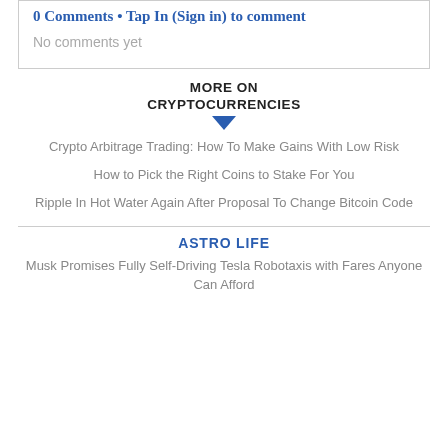0 Comments • Tap In (Sign in) to comment
No comments yet
MORE ON CRYPTOCURRENCIES
Crypto Arbitrage Trading: How To Make Gains With Low Risk
How to Pick the Right Coins to Stake For You
Ripple In Hot Water Again After Proposal To Change Bitcoin Code
ASTRO LIFE
Musk Promises Fully Self-Driving Tesla Robotaxis with Fares Anyone Can Afford